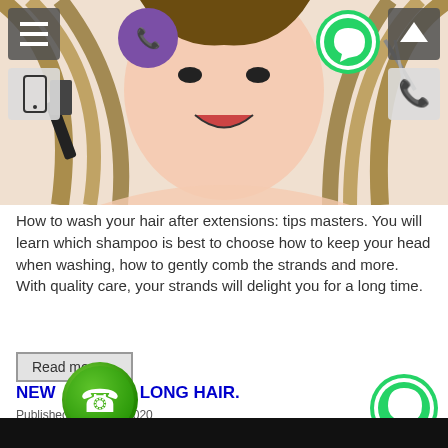[Figure (photo): Woman with long hair brushing it, excited expression, with UI overlay icons including Viber, WhatsApp, menu, mobile, scroll-up, and phone buttons]
How to wash your hair after extensions: tips masters. You will learn which shampoo is best to choose how to keep your head when washing, how to gently comb the strands and more. With quality care, your strands will delight you for a long time.
Read more ...
NEW CHIC LONG HAIR.
Published: November 2020
Hits: 3934